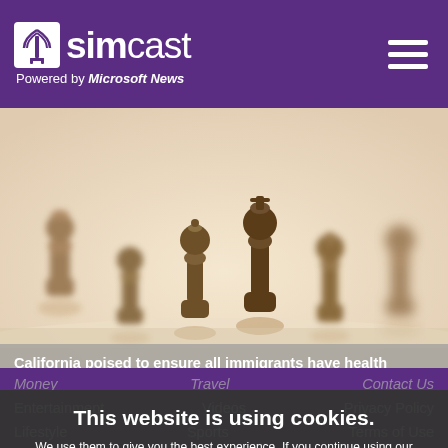simcast — Powered by Microsoft News
[Figure (photo): Sepia-toned photo of multiple chess pieces (pawns, bishops, knights, rooks) standing in a row on a light surface, with shallow depth of field.]
California poised to ensure all immigrants have health insurance
This website is using cookies. We use them to give you the best experience. If you continue using our website, we will assume that you are happy to receive all cookies on this website.
Continue | Learn more
Money   Travel   Contact Us   Entertainment   Videos   Privacy Policy   Lifestyle   Sports   Terms of Use